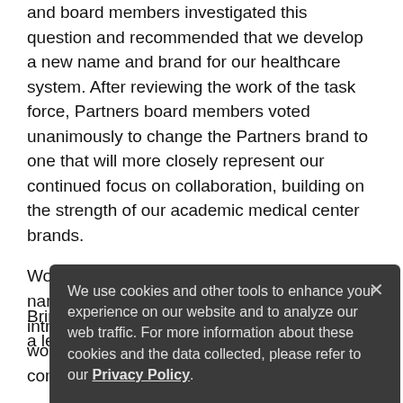and board members investigated this question and recommended that we develop a new name and brand for our healthcare system. After reviewing the work of the task force, Partners board members voted unanimously to change the Partners brand to one that will more closely represent our continued focus on collaboration, building on the strength of our academic medical center brands.
Work has already begun to develop new naming options and to craft a plan that will introduce our new brand to our nation. This work includes efforts to gather from patients, constituents, and — across our system —
Bringing a new brand into the marketplace is a lengthy process and requires a tremendous
We use cookies and other tools to enhance your experience on our website and to analyze our web traffic. For more information about these cookies and the data collected, please refer to our Privacy Policy.